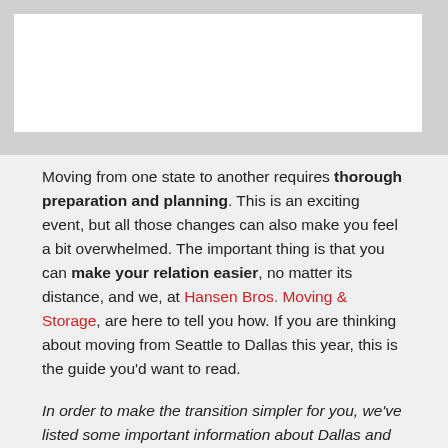[Figure (photo): Image placeholder with white rectangle on gray background]
Moving from one state to another requires thorough preparation and planning. This is an exciting event, but all those changes can also make you feel a bit overwhelmed. The important thing is that you can make your relation easier, no matter its distance, and we, at Hansen Bros. Moving & Storage, are here to tell you how. If you are thinking about moving from Seattle to Dallas this year, this is the guide you'd want to read.
In order to make the transition simpler for you, we've listed some important information about Dallas and the biggest differences between Dallas and Seattle. Read the entire guide and you will also learn how to